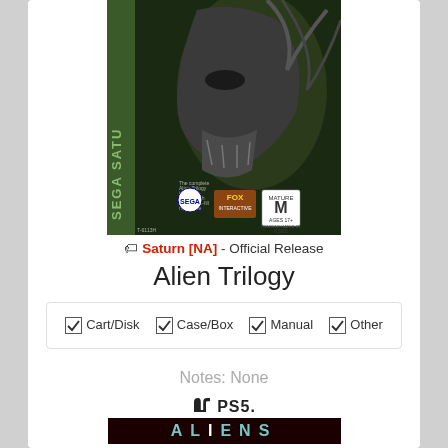[Figure (photo): Sega Saturn game box cover for Alien Trilogy, showing alien creature on front, Fox Interactive logo, ESRB Mature rating, Sega logo, product code T-6113H]
Saturn [NA] - Official Release
Alien Trilogy
☑ Cart/Disk   ☑ Case/Box   ☑ Manual   ☑ Other
Notes: None
[Figure (logo): PS5 logo (PlayStation symbol and PS5 text)]
[Figure (photo): Aliens game title screen/cover with glowing letters on dark background]